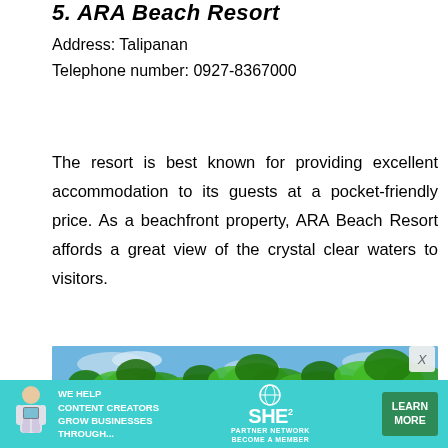5. ARA Beach Resort
Address: Talipanan
Telephone number: 0927-8367000
The resort is best known for providing excellent accommodation to its guests at a pocket-friendly price. As a beachfront property, ARA Beach Resort affords a great view of the crystal clear waters to visitors.
[Figure (photo): Photograph of palm trees under blue sky at a tropical beach resort]
[Figure (infographic): Advertisement banner: 'WE HELP CONTENT CREATORS GROW BUSINESSES THROUGH...' with SHE Partner Network logo and LEARN MORE button]